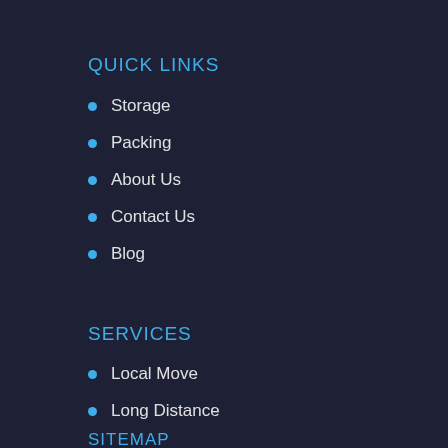QUICK LINKS
Storage
Packing
About Us
Contact Us
Blog
SERVICES
Local Move
Long Distance
Sitemap